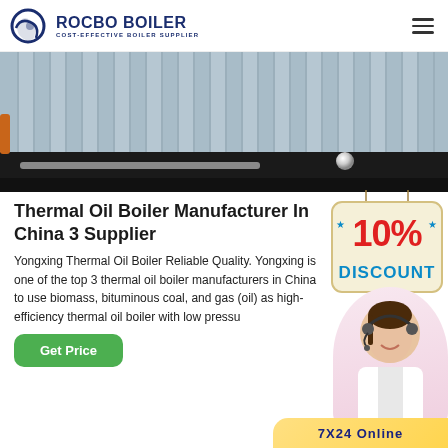ROCBO BOILER – COST-EFFECTIVE BOILER SUPPLIER
[Figure (photo): Industrial thermal oil boiler unit with corrugated metal exterior panels, black base, pipe on ground, and reflective sphere object visible]
Thermal Oil Boiler Manufacturer In China 3 Supplier
Yongxing Thermal Oil Boiler Reliable Quality. Yongxing is one of the top 3 thermal oil boiler manufacturers in China to use biomass, bituminous coal, and gas (oil) as high-efficiency thermal oil boiler with low pressu…
[Figure (illustration): 10% DISCOUNT badge hanging sign overlaid on content]
[Figure (photo): Customer service representative with headset smiling, circular cropped photo]
Get Price
7X24 Online